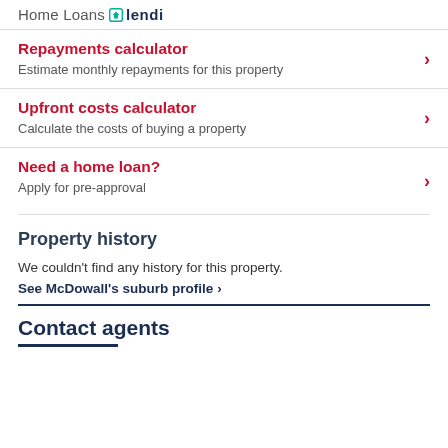Home Loans lendi
Repayments calculator — Estimate monthly repayments for this property
Upfront costs calculator — Calculate the costs of buying a property
Need a home loan? — Apply for pre-approval
Property history
We couldn't find any history for this property.
See McDowall's suburb profile >
Contact agents